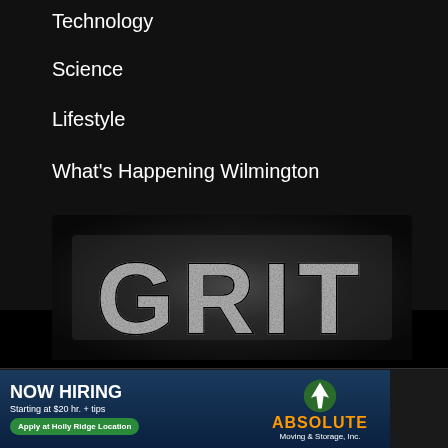Technology
Science
Lifestyle
What's Happening Wilmington
[Figure (logo): GRIT TV channel logo — large distressed/grunge-style white text 'GRIT' on black background]
Copyright © 2022 · American Spirit Media LLC · WSFX TV · Wilmington NC · Terms of Service · Privacy Policy
[Figure (infographic): NOW HIRING advertisement banner for Absolute Moving & Storage, Inc. Starting at $20 hr. + tips. Apply at Holly Ridge Location.]